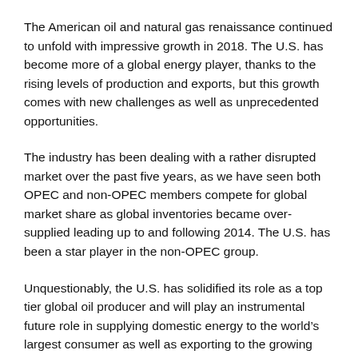The American oil and natural gas renaissance continued to unfold with impressive growth in 2018. The U.S. has become more of a global energy player, thanks to the rising levels of production and exports, but this growth comes with new challenges as well as unprecedented opportunities.
The industry has been dealing with a rather disrupted market over the past five years, as we have seen both OPEC and non-OPEC members compete for global market share as global inventories became over-supplied leading up to and following 2014. The U.S. has been a star player in the non-OPEC group.
Unquestionably, the U.S. has solidified its role as a top tier global oil producer and will play an instrumental future role in supplying domestic energy to the world’s largest consumer as well as exporting to the growing global market which recently hit total consumption levels of 100 mmb/d.